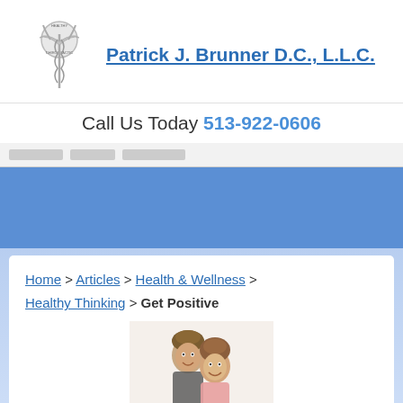[Figure (logo): Chiropractic caduceus logo with the text HEALTHY CHIROPRACTIC around a circular emblem, silver/grey figure]
Patrick J. Brunner D.C., L.L.C.
Call Us Today 513-922-0606
[Figure (photo): Navigation menu bar area (greyed out, partially visible)]
[Figure (illustration): Blue banner / hero image area, solid blue rectangle]
Home > Articles > Health & Wellness > Healthy Thinking > Get Positive
[Figure (photo): Photo of two smiling people (man and woman), partially cropped at bottom of page]